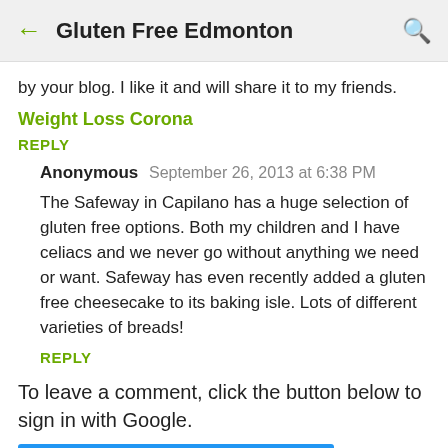Gluten Free Edmonton
by your blog. I like it and will share it to my friends.
Weight Loss Corona
REPLY
Anonymous  September 26, 2013 at 6:38 PM
The Safeway in Capilano has a huge selection of gluten free options. Both my children and I have celiacs and we never go without anything we need or want. Safeway has even recently added a gluten free cheesecake to its baking isle. Lots of different varieties of breads!
REPLY
To leave a comment, click the button below to sign in with Google.
[Figure (other): Blue Google sign-in button (partially visible at bottom)]